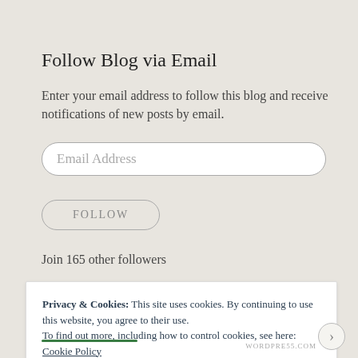Follow Blog via Email
Enter your email address to follow this blog and receive notifications of new posts by email.
Email Address
FOLLOW
Join 165 other followers
Privacy & Cookies: This site uses cookies. By continuing to use this website, you agree to their use.
To find out more, including how to control cookies, see here:
Cookie Policy
Close and accept